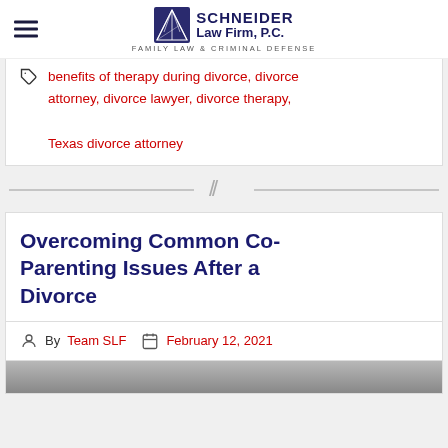Schneider Law Firm, P.C. — Family Law & Criminal Defense
benefits of therapy during divorce, divorce attorney, divorce lawyer, divorce therapy, Texas divorce attorney
[Figure (other): Decorative double-slash divider with horizontal lines]
Overcoming Common Co-Parenting Issues After a Divorce
By Team SLF  February 12, 2021
[Figure (photo): Partial photo strip at bottom of page]